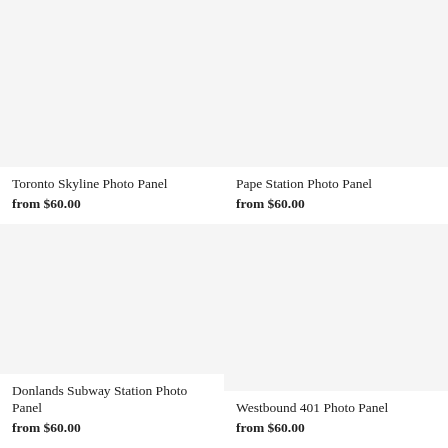[Figure (photo): Toronto Skyline Photo Panel product image placeholder (light gray)]
Toronto Skyline Photo Panel
from $60.00
[Figure (photo): Pape Station Photo Panel product image placeholder (light gray)]
Pape Station Photo Panel
from $60.00
[Figure (photo): Donlands Subway Station Photo Panel product image placeholder (light gray)]
Donlands Subway Station Photo Panel
from $60.00
[Figure (photo): Westbound 401 Photo Panel product image placeholder (light gray)]
Westbound 401 Photo Panel
from $60.00